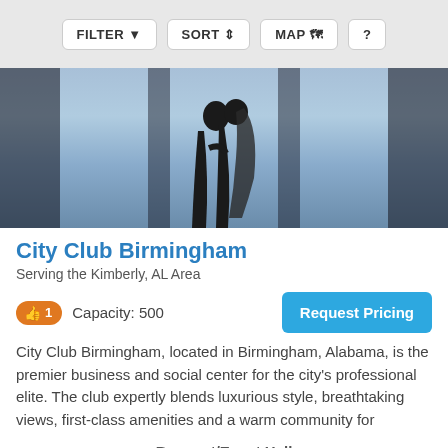FILTER  SORT  MAP  ?
[Figure (photo): Silhouette of a bride and groom couple standing near large windows with a sky backdrop, wedding venue photo]
City Club Birmingham
Serving the Kimberly, AL Area
1  Capacity: 500
Request Pricing
City Club Birmingham, located in Birmingham, Alabama, is the premier business and social center for the city's professional elite. The club expertly blends luxurious style, breathtaking views, first-class amenities and a warm community for
Banquet/Event Hall
[Figure (photo): Partial view of floral arrangement, bottom strip of next listing card with Fast Response badge]